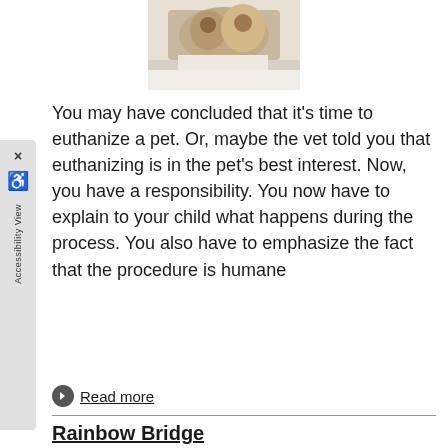[Figure (photo): Partial photo of a cat at the top of the page]
You may have concluded that it's time to euthanize a pet. Or, maybe the vet told you that euthanizing is in the pet's best interest. Now, you have a responsibility. You now have to explain to your child what happens during the process. You also have to emphasize the fact that the procedure is humane
Read more
Rainbow Bridge
Category: Living With Your Pet, Saying Goodbye
[Figure (photo): Photo of a child lying with a dog, partially visible at the bottom of the page]